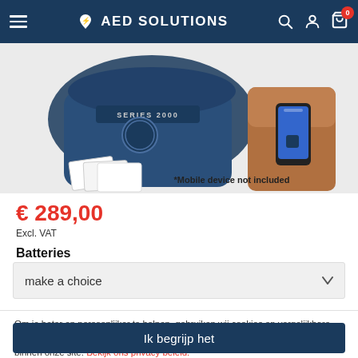AED SOLUTIONS
[Figure (photo): Product photo showing AED training kit with carrying bag labeled SERIES 2000, documents/manuals, and a smartphone prop. Text overlay reads '*Mobile device not included'.]
€ 289,00
Excl. VAT
Batteries
make a choice
Om je beter en persoonlijker te helpen, gebruiken wij cookies en vergelijkbare technieken. Met de cookies volgen wij en derde partijen jouw internetgedrag binnen onze site. Bekijk ons privacy beleid.
Ik begrijp het